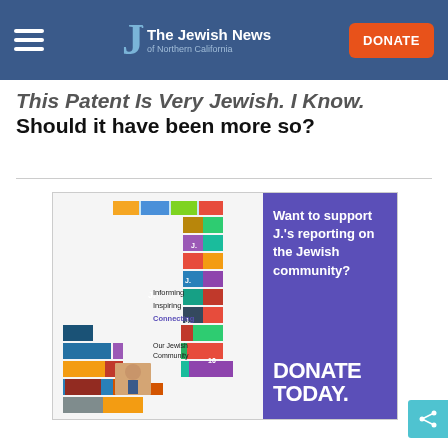The Jewish News of Northern California — DONATE
This Patent Is Very Jewish. I Know. Should it have been more so?
[Figure (infographic): J. The Jewish News of Northern California donation advertisement. Left side shows a large letter J made of magazine cover collage photos. Right side has purple background with text: Informing, Inspiring, Connecting, Our Jewish Community. Want to support J.'s reporting on the Jewish community? DONATE TODAY.]